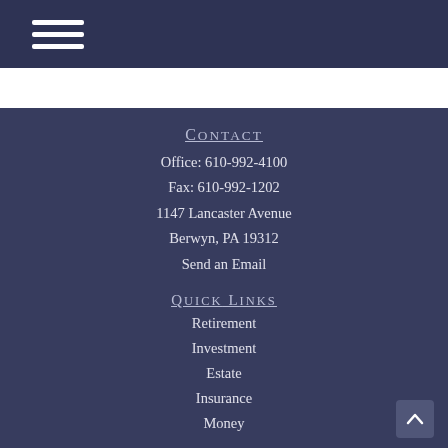≡ (hamburger menu icon)
Contact
Office: 610-992-4100
Fax: 610-992-1202
1147 Lancaster Avenue
Berwyn, PA 19312
Send an Email
Quick Links
Retirement
Investment
Estate
Insurance
Money